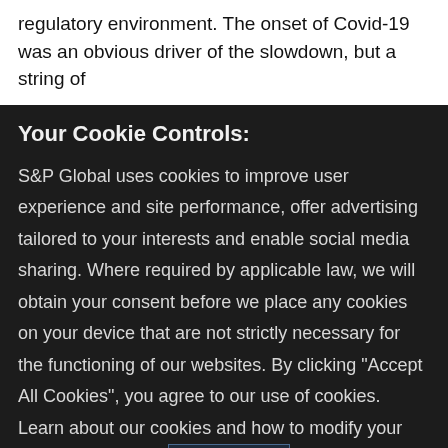regulatory environment. The onset of Covid-19 was an obvious driver of the slowdown, but a string of
Your Cookie Controls:
S&P Global uses cookies to improve user experience and site performance, offer advertising tailored to your interests and enable social media sharing. Where required by applicable law, we will obtain your consent before we place any cookies on your device that are not strictly necessary for the functioning of our websites. By clicking "Accept All Cookies", you agree to our use of cookies. Learn about our cookies and how to modify your preferences in our Cookie Notice